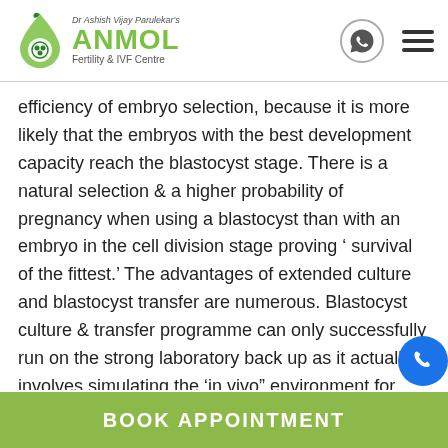[Figure (logo): Dr Ashish Vijay Parulekar's ANMOL Fertility & IVF Centre logo with drop/embryo icon]
efficiency of embryo selection, because it is more likely that the embryos with the best development capacity reach the blastocyst stage. There is a natural selection & a higher probability of pregnancy when using a blastocyst than with an embryo in the cell division stage proving ‘ survival of the fittest.’ The advantages of extended culture and blastocyst transfer are numerous. Blastocyst culture & transfer programme can only successfully run on the strong laboratory back up as it actually involves simulating the ‘in vivo” environment for extended period proficiently.
BOOK APPOINTMENT